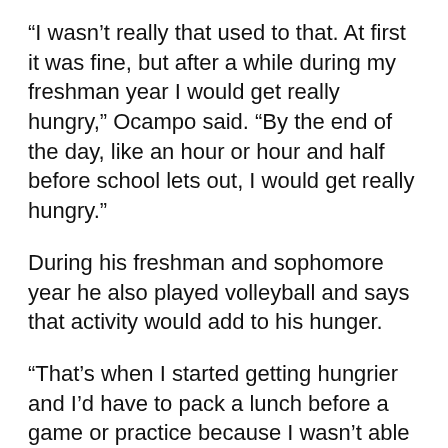“I wasn’t really that used to that. At first it was fine, but after a while during my freshman year I would get really hungry,” Ocampo said. “By the end of the day, like an hour or hour and half before school lets out, I would get really hungry.”
During his freshman and sophomore year he also played volleyball and says that activity would add to his hunger.
“That’s when I started getting hungrier and I’d have to pack a lunch before a game or practice because I wasn’t able to perform as well as I could if I was hungry,” he said.
Ocampo has had every lunch period at